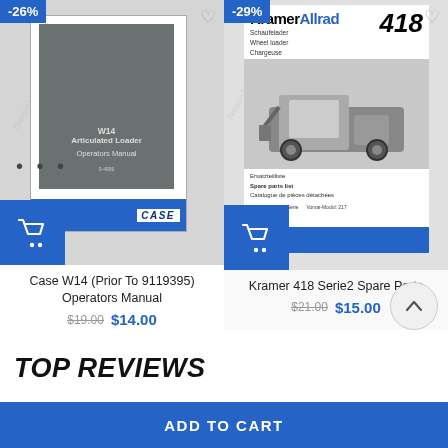[Figure (photo): Case W14 Articulated Loader Operators Manual cover – gray/white cover with CASE logo at bottom]
-26%
Case W14 (Prior To 9119395) Operators Manual
$19.00 $14.00
[Figure (photo): Kramer 418 Serie2 Spare Parts List cover – shows Kramer Allrad logo, wheel loader model 418, and a photo of the skid steer loader]
-29%
Kramer 418 Serie2 Spare Parts
$21.00 $15.00
TOP REVIEWS
ADD TO CART